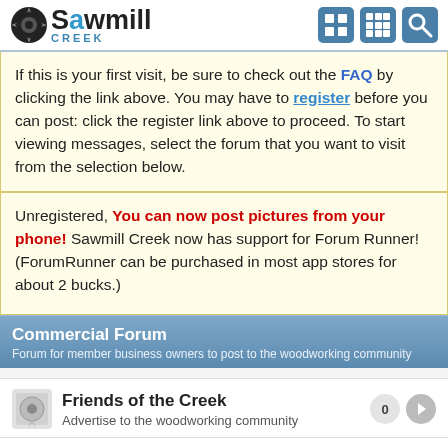Sawmill Creek
If this is your first visit, be sure to check out the FAQ by clicking the link above. You may have to register before you can post: click the register link above to proceed. To start viewing messages, select the forum that you want to visit from the selection below.
Unregistered, You can now post pictures from your phone! Sawmill Creek now has support for Forum Runner! (ForumRunner can be purchased in most app stores for about 2 bucks.)
Commercial Forum
Forum for member business owners to post to the woodworking community
Friends of the Creek
Advertise to the woodworking community